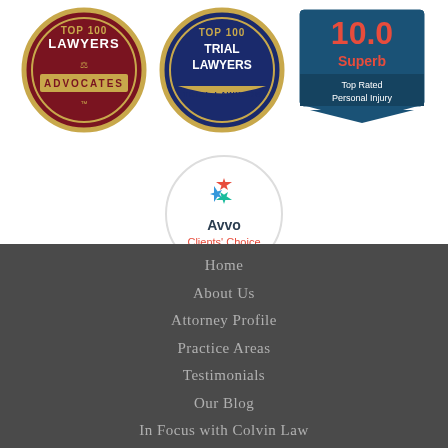[Figure (logo): Top 100 Lawyers Advocates badge (dark red circular seal)]
[Figure (logo): Top 100 Trial Lawyers badge (dark blue circular seal)]
[Figure (logo): Avvo 10.0 Superb Top Rated Personal Injury badge (blue ribbon/pentagon)]
[Figure (logo): Avvo Clients Choice Social Security badge (circular with blue ribbon)]
Home
About Us
Attorney Profile
Practice Areas
Testimonials
Our Blog
In Focus with Colvin Law